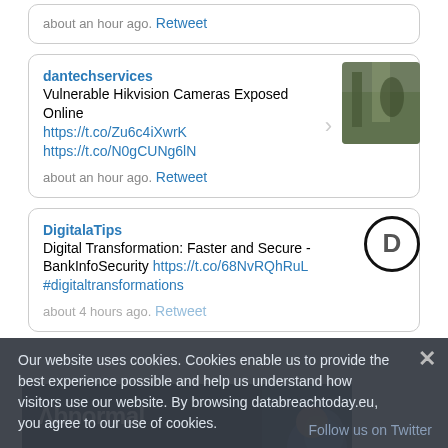about an hour ago. Retweet
dantechservices - Vulnerable Hikvision Cameras Exposed Online https://t.co/Zu6c4iXwrK https://t.co/N0gCUNg6lN - about an hour ago. Retweet
DigitalaTips - Digital Transformation: Faster and Secure - BankInfoSecurity https://t.co/68NvRQhRuL #digitaltransformations - about 4 hours ago. Retweet
Our website uses cookies. Cookies enable us to provide the best experience possible and help us understand how visitors use our website. By browsing databreachtoday.eu, you agree to our use of cookies.
Follow us on Twitter
[Figure (screenshot): Ad banner with Abnormal logo and a photo of a person]